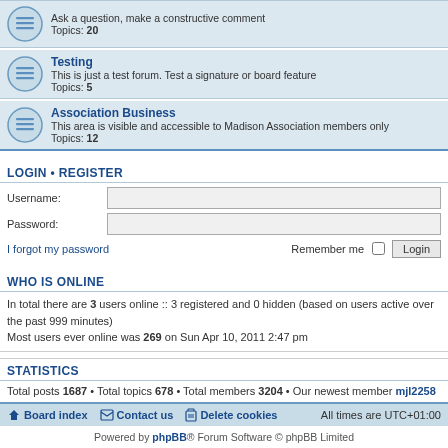Ask a question, make a constructive comment
Topics: 20
Testing
This is just a test forum. Test a signature or board feature
Topics: 5
Association Business
This area is visible and accessible to Madison Association members only
Topics: 12
LOGIN • REGISTER
Username:
Password:
I forgot my password   Remember me  Login
WHO IS ONLINE
In total there are 3 users online :: 3 registered and 0 hidden (based on users active over the past 999 minutes)
Most users ever online was 269 on Sun Apr 10, 2011 2:47 pm
STATISTICS
Total posts 1687 • Total topics 678 • Total members 3204 • Our newest member mjl2258
Board index   Contact us   Delete cookies   All times are UTC+01:00
Powered by phpBB® Forum Software © phpBB Limited